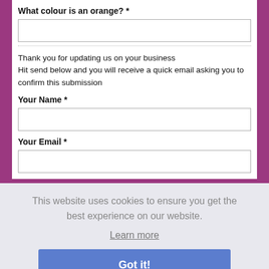What colour is an orange? *
Thank you for updating us on your business
Hit send below and you will receive a quick email asking you to confirm this submission
Your Name *
Your Email *
This website uses cookies to ensure you get the best experience on our website.
Learn more
Got it!
map